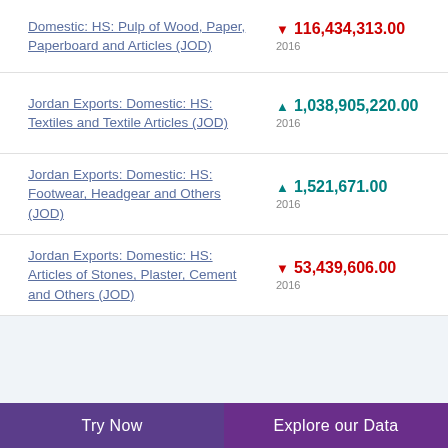Domestic: HS: Pulp of Wood, Paper, Paperboard and Articles (JOD)
Jordan Exports: Domestic: HS: Textiles and Textile Articles (JOD)
Jordan Exports: Domestic: HS: Footwear, Headgear and Others (JOD)
Jordan Exports: Domestic: HS: Articles of Stones, Plaster, Cement and Others (JOD)
Try Now | Explore our Data